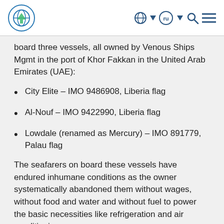ITF logo and navigation icons
board three vessels, all owned by Venous Ships Mgmt in the port of Khor Fakkan in the United Arab Emirates (UAE):
City Elite – IMO 9486908, Liberia flag
Al-Nouf – IMO 9422990, Liberia flag
Lowdale (renamed as Mercury) – IMO 891779, Palau flag
The seafarers on board these vessels have endured inhumane conditions as the owner systematically abandoned them without wages, without food and water and without fuel to power the basic necessities like refrigeration and air conditioning.
During 2016 and 2017 several of the crew left the vessels without being able to confirm if they had received partial wages or any wages at all.